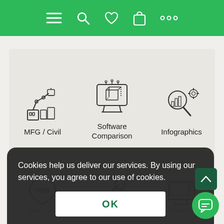Navigation bar with menu, search, wishlist, cart, more icons
[Figure (illustration): MFG / Civil icon - robotic arm with factory machinery]
MFG / Civil
[Figure (illustration): Software Comparison icon - monitor with 3D cube and connectors]
Software Comparison
[Figure (illustration): Infographics icon - magnifying glass with bar chart and gears]
Infographics
[Figure (illustration): What's New icon - NEW badge label]
[Figure (illustration): How-to icon - tools/wrench and pencil]
[Figure (illustration): Webinars icon - presentation screen with play]
Cookies help us deliver our services. By using our services, you agree to our use of cookies.
OK
Learn more